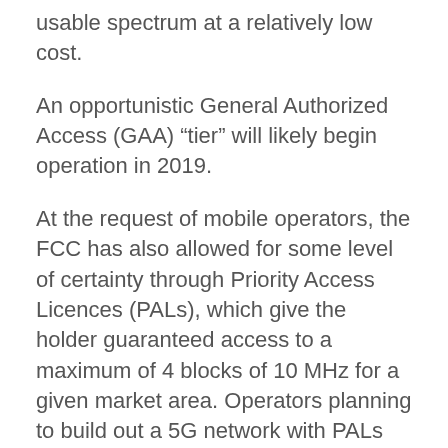usable spectrum at a relatively low cost.
An opportunistic General Authorized Access (GAA) “tier” will likely begin operation in 2019.
At the request of mobile operators, the FCC has also allowed for some level of certainty through Priority Access Licences (PALs), which give the holder guaranteed access to a maximum of 4 blocks of 10 MHz for a given market area. Operators planning to build out a 5G network with PALs would have to participate in auctions for each of these market areas. A maximum of 7 PALs will be awarded in each market area.
Commissioner O’Rielly developed changes to the initial CBRS proposals, which were approved at last